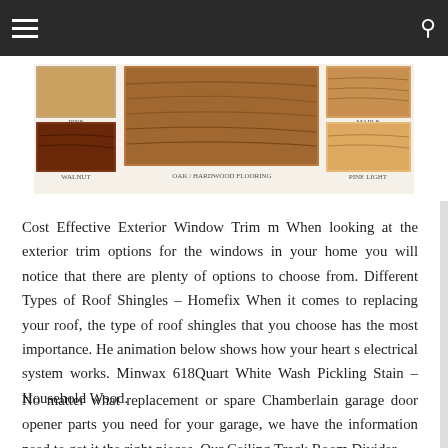Navigation bar with hamburger menu and search icon
[Figure (photo): Wood flooring or shingles sample swatches showing different types and colors of wood materials, arranged in a grid layout]
Cost Effective Exterior Window Trim m When looking at the exterior trim options for the windows in your home you will notice that there are plenty of options to choose from. Different Types of Roof Shingles – Homefix When it comes to replacing your roof, the type of roof shingles that you choose has the most importance. He animation below shows how your heart s electrical system works. Minwax 618Quart White Wash Pickling Stain – Household Wood.
No matter what replacement or spare Chamberlain garage door opener parts you need for your garage, we have the information need to get it the right pieces. Our Ceiling Track Room Divider